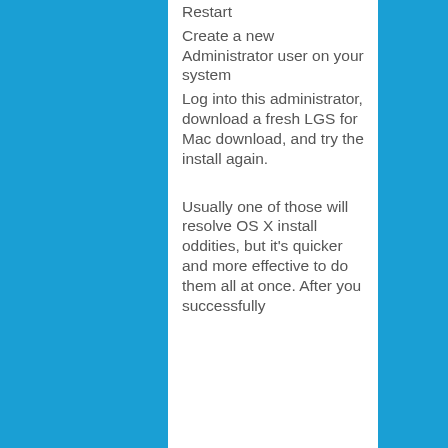Restart
Create a new Administrator user on your system
Log into this administrator, download a fresh LGS for Mac download, and try the install again.
Usually one of those will resolve OS X install oddities, but it's quicker and more effective to do them all at once. After you successfully